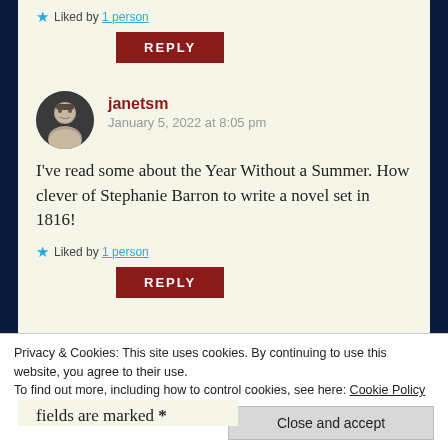Liked by 1 person
REPLY
janetsm
January 5, 2022 at 8:05 pm
I've read some about the Year Without a Summer. How clever of Stephanie Barron to write a novel set in 1816!
Liked by 1 person
REPLY
Privacy & Cookies: This site uses cookies. By continuing to use this website, you agree to their use.
To find out more, including how to control cookies, see here: Cookie Policy
Close and accept
fields are marked *